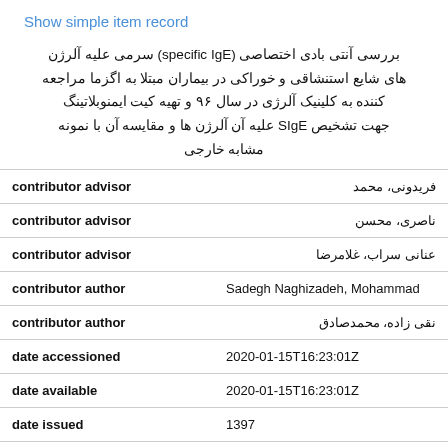Show simple item record
بررسی آنتی بادی اختصاصی (specific IgE) سرمی علیه آلرژن های شایع استنشاقی و خوراکی در بیماران مبتلا به اگزما مراجعه کننده به کلینیک آلرژی در سال ۹۶ و تهیه کیت ایمنوبلاتینگ جهت تشخیص SIgE علیه آن آلرژن ها و مقایسه آن با نمونه مشابه خارجی
| Field | Value |
| --- | --- |
| contributor advisor | فریدونی، محمد |
| contributor advisor | ناصری، محسن |
| contributor advisor | عنانی سراب، غلامرضا |
| contributor author | Sadegh Naghizadeh, Mohammad |
| contributor author | نقی زاده، محمدصادق |
| date accessioned | 2020-01-15T16:23:01Z |
| date available | 2020-01-15T16:23:01Z |
| date issued | 1397 |